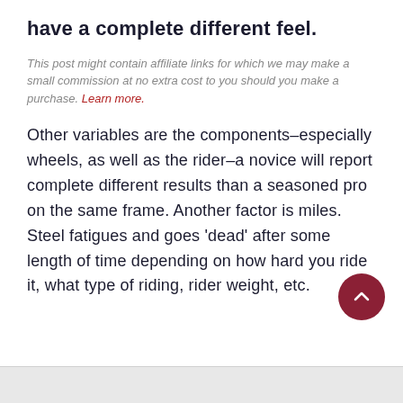have a complete different feel.
This post might contain affiliate links for which we may make a small commission at no extra cost to you should you make a purchase. Learn more.
Other variables are the components–especially wheels, as well as the rider–a novice will report complete different results than a seasoned pro on the same frame. Another factor is miles. Steel fatigues and goes 'dead' after some length of time depending on how hard you ride it, what type of riding, rider weight, etc.